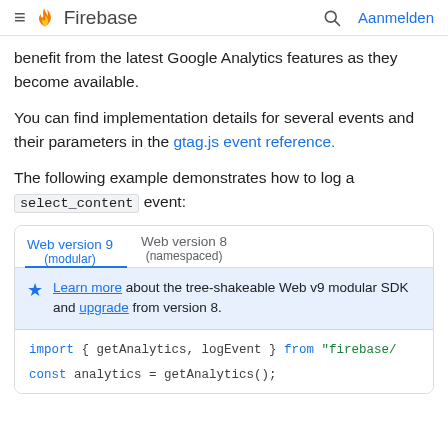Firebase — Aanmelden
benefit from the latest Google Analytics features as they become available.
You can find implementation details for several events and their parameters in the gtag.js event reference.
The following example demonstrates how to log a select_content event:
Web version 9 (modular) | Web version 8 (namespaced) — Learn more about the tree-shakeable Web v9 modular SDK and upgrade from version 8.
import { getAnalytics, logEvent } from "firebase/"
const analytics = getAnalytics();